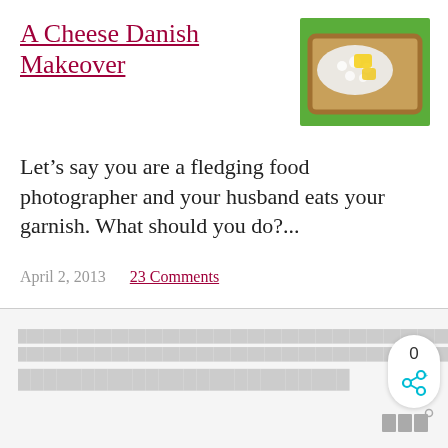A Cheese Danish Makeover
[Figure (photo): A piece of toast topped with white cottage cheese and yellow pineapple chunks on a green plate]
Let’s say you are a fledging food photographer and your husband eats your garnish. What should you do?...
April 2, 2013  23 Comments
[Figure (screenshot): Blurred/greyed out blog content section below the divider, with share widget showing count 0 and share icon, and a logo in the bottom right corner]